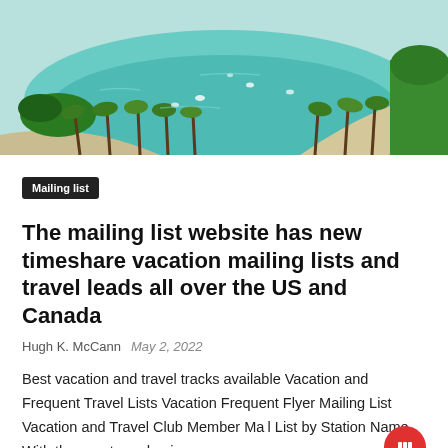[Figure (photo): Aerial view of a tropical bay with turquoise water, white sandy beach, palm trees, small boats, and lush green islands]
Mailing list
The mailing list website has new timeshare vacation mailing lists and travel leads all over the US and Canada
Hugh K. McCann  May 2, 2022
Best vacation and travel tracks available Vacation and Frequent Travel Lists Vacation Frequent Flyer Mailing List Vacation and Travel Club Member Ma... List by Station Name With the worst pandemic ...